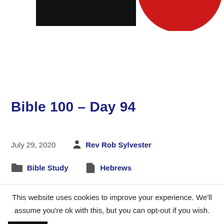[Figure (illustration): Partial view of a black rectangle and red circle on white background at top of page]
Bible 100 – Day 94
July 29, 2020   Rev Rob Sylvester
Bible Study   Hebrews
This website uses cookies to improve your experience. We'll assume you're ok with this, but you can opt-out if you wish. Accept. Read More for information on our cookie policy.